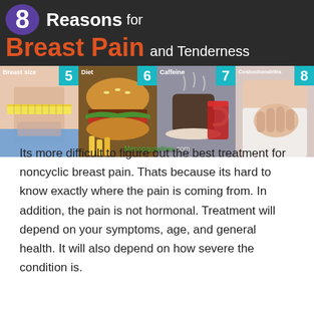[Figure (infographic): Infographic titled '8 Reasons for Breast Pain and Tenderness' from MenopauseNow.com. Shows four panels labeled 5-8: Breast size (5), Diet (6), Caffeine (7), Costochondritis (8), each with a corresponding photo.]
Its more difficult to figure out the best treatment for noncyclic breast pain. Thats because its hard to know exactly where the pain is coming from. In addition, the pain is not hormonal. Treatment will depend on your symptoms, age, and general health. It will also depend on how severe the condition is.